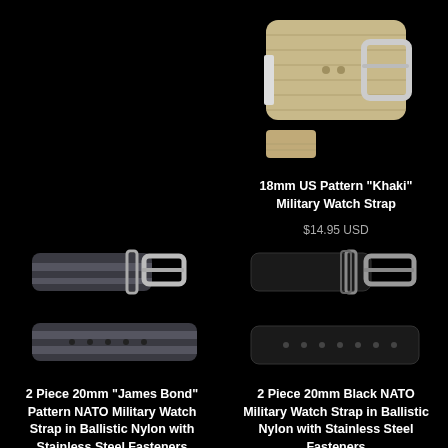[Figure (photo): 18mm US Pattern Khaki Military Watch Strap - khaki colored wide NATO strap with silver buckle]
18mm US Pattern "Khaki" Military Watch Strap
$14.95 USD
[Figure (photo): 2 Piece 20mm James Bond Pattern NATO Military Watch Strap in Ballistic Nylon with Stainless Steel Fasteners - dark striped strap shown in two pieces]
2 Piece 20mm "James Bond" Pattern NATO Military Watch Strap in Ballistic Nylon with Stainless Steel Fasteners
$14.95 USD
[Figure (photo): 2 Piece 20mm Black NATO Military Watch Strap in Ballistic Nylon with Stainless Steel Fasteners - all black strap shown in two pieces]
2 Piece 20mm Black NATO Military Watch Strap in Ballistic Nylon with Stainless Steel Fasteners
$14.95 USD